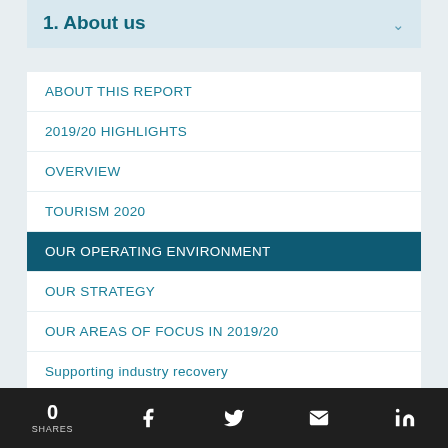1. About us
ABOUT THIS REPORT
2019/20 HIGHLIGHTS
OVERVIEW
TOURISM 2020
OUR OPERATING ENVIRONMENT
OUR STRATEGY
OUR AREAS OF FOCUS IN 2019/20
Supporting industry recovery
Target customers
0 SHARES